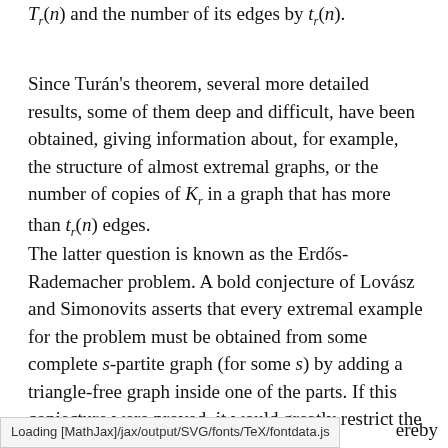T_r(n) and the number of its edges by t_r(n).
Since Turán's theorem, several more detailed results, some of them deep and difficult, have been obtained, giving information about, for example, the structure of almost extremal graphs, or the number of copies of K_r in a graph that has more than t_r(n) edges.
The latter question is known as the Erdős-Rademacher problem. A bold conjecture of Lovász and Simonovits asserts that every extremal example for the problem must be obtained from some complete s-partite graph (for some s) by adding a triangle-free graph inside one of the parts. If this conjecture were proved, it would greatly restrict the …ereby
Loading [MathJax]/jax/output/SVG/fonts/TeX/fontdata.js